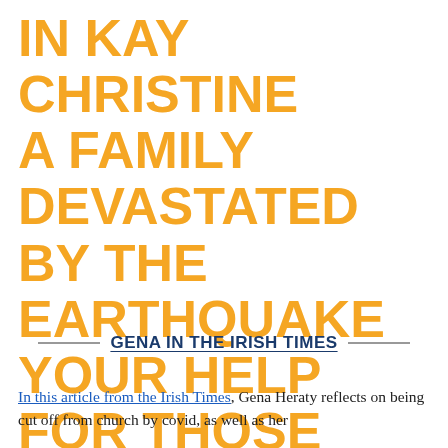IN KAY CHRISTINE A FAMILY DEVASTATED BY THE EARTHQUAKE YOUR HELP FOR THOSE IN NEED
GENA IN THE IRISH TIMES
In this article from the Irish Times, Gena Heraty reflects on being cut off from church by covid, as well as her